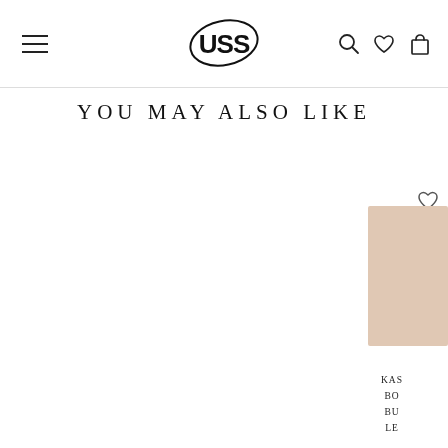USS - navigation header with hamburger menu, USS logo, search, wishlist and cart icons
YOU MAY ALSO LIKE
[Figure (photo): Partial product image visible at right edge, appears to be a clothing item in beige/pink tone]
KAS... BO... BU... LE...